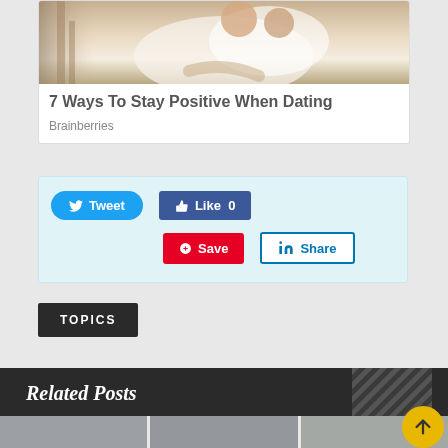[Figure (photo): Couple embracing on a porch/stairs, wearing white clothing]
7 Ways To Stay Positive When Dating
Brainberries
[Figure (screenshot): Social sharing buttons: Tweet, Like 0, Save, Share]
TOPICS
Related Posts